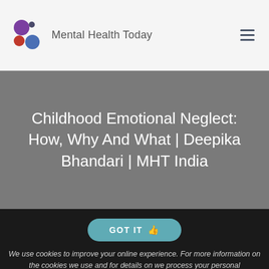Mental Health Today
Childhood Emotional Neglect: How, Why And What | Deepika Bhandari | MHT India
GOT IT
We use cookies to improve your online experience. For more information on the cookies we use and for details on we process your personal information, please see our Privacy Policy. By continuing to use our website you consent to us using cookies.